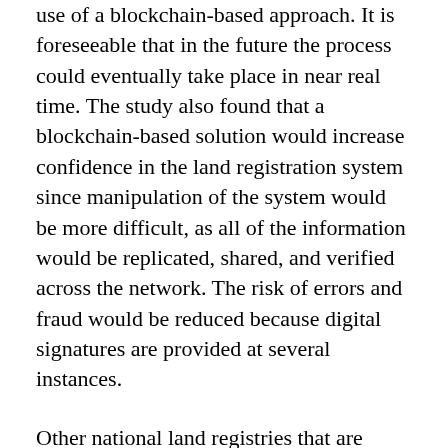use of a blockchain-based approach. It is foreseeable that in the future the process could eventually take place in near real time. The study also found that a blockchain-based solution would increase confidence in the land registration system since manipulation of the system would be more difficult, as all of the information would be replicated, shared, and verified across the network. The risk of errors and fraud would be reduced because digital signatures are provided at several instances.
Other national land registries that are reported to be experimenting with blockchain include the Rwanda Natural Resources Authority and Her Majesty's Land Registry in the United Kingdom. It is foreseeable that other National Land Registries will also begin to experiment with blockchain in order to develop their own understanding and expertise in the technology.